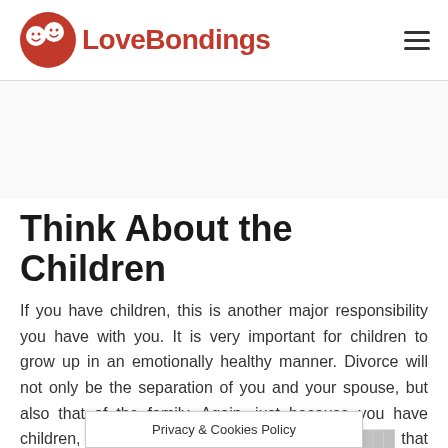LoveBondings
Think About the Children
If you have children, this is another major responsibility you have with you. It is very important for children to grow up in an emotionally healthy manner. Divorce will not only be the separation of you and your spouse, but also that of the family. Again, just because you have children, doesn't mean you make them … that is always
Privacy & Cookies Policy